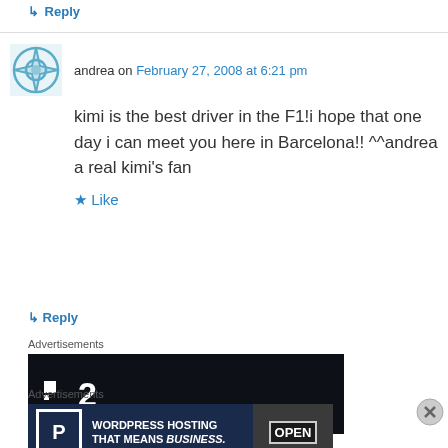↳ Reply
andrea on February 27, 2008 at 6:21 pm
kimi is the best driver in the F1!i hope that one day i can meet you here in Barcelona!! ^^andrea a real kimi's fan
Like
↳ Reply
Advertisements
[Figure (illustration): Dark advertisement banner showing logo with square icon and number 2]
Advertisements
[Figure (illustration): WordPress Hosting advertisement banner with OPEN sign photo]